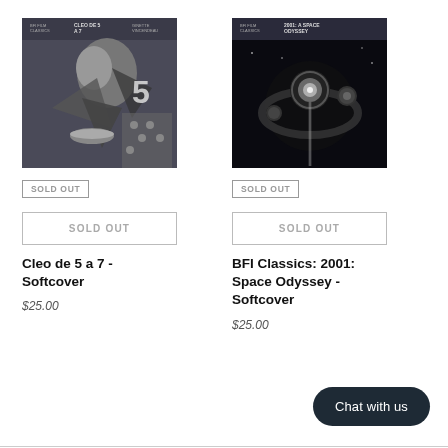[Figure (illustration): Book cover for Cleo de 5 a 7, black and white collage image with abstract female figure, geometric shapes, and the number 5]
SOLD OUT
[Figure (illustration): Book cover for BFI Classics 2001: A Space Odyssey, dark image with glowing orb and spherical shapes]
SOLD OUT
SOLD OUT
SOLD OUT
Cleo de 5 a 7 - Softcover
BFI Classics: 2001: Space Odyssey - Softcover
$25.00
$25.00
Chat with us